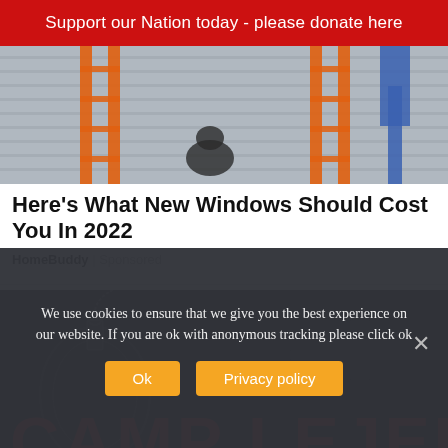Support our Nation today - please donate here
[Figure (photo): Workers on ladders outside a house, construction/window installation scene]
Here's What New Windows Should Cost You In 2022
HomeBuddy | Sponsored
[Figure (photo): Dark background with dog tags and military equipment; red bold text reading CAMP LEJEUNE]
We use cookies to ensure that we give you the best experience on our website. If you are ok with anonymous tracking please click ok
Ok
Privacy policy